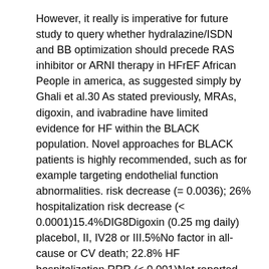However, it really is imperative for future study to query whether hydralazine/ISDN and BB optimization should precede RAS inhibitor or ARNI therapy in HFrEF African People in america, as suggested simply by Ghali et al.30 As stated previously, MRAs, digoxin, and ivabradine have limited evidence for HF within the BLACK population. Novel approaches for BLACK patients is highly recommended, such as for example targeting endothelial function abnormalities. risk decrease (= 0.0036); 26% hospitalization risk decrease (< 0.0001)15.4%DIG8Digoxin (0.25 mg daily) placeboI, II, IV28 or III.5%No factor in all-cause or CV death; 22.8% HF hospitalization RRR (< 0.001)Not reported (85.4% White colored)RALES9Spironolactone (26 mg daily) placeboIII or IV25%30% all-cause loss of life RRR (< 0.001); 31% CV loss of life RRR (< 0.001); 30% risk decrease in CV hospitalizations (< 0.001)Not reported (86.5% White)CIBIS-II10Bisoprolol (8.6 mg daily)